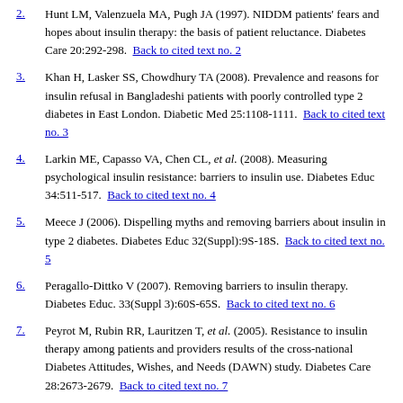2. Hunt LM, Valenzuela MA, Pugh JA (1997). NIDDM patients' fears and hopes about insulin therapy: the basis of patient reluctance. Diabetes Care 20:292-298. Back to cited text no. 2
3. Khan H, Lasker SS, Chowdhury TA (2008). Prevalence and reasons for insulin refusal in Bangladeshi patients with poorly controlled type 2 diabetes in East London. Diabetic Med 25:1108-1111. Back to cited text no. 3
4. Larkin ME, Capasso VA, Chen CL, et al. (2008). Measuring psychological insulin resistance: barriers to insulin use. Diabetes Educ 34:511-517. Back to cited text no. 4
5. Meece J (2006). Dispelling myths and removing barriers about insulin in type 2 diabetes. Diabetes Educ 32(Suppl):9S-18S. Back to cited text no. 5
6. Peragallo-Dittko V (2007). Removing barriers to insulin therapy. Diabetes Educ. 33(Suppl 3):60S-65S. Back to cited text no. 6
7. Peyrot M, Rubin RR, Lauritzen T, et al. (2005). Resistance to insulin therapy among patients and providers results of the cross-national Diabetes Attitudes, Wishes, and Needs (DAWN) study. Diabetes Care 28:2673-2679. Back to cited text no. 7
8. Polonsky WH, Fisher L, Dowe S, Edelman S (2003). Why do patients resist insulin